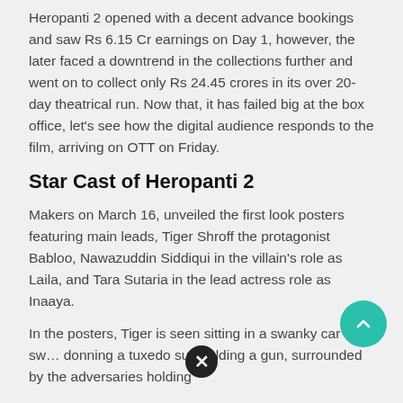Heropanti 2 opened with a decent advance bookings and saw Rs 6.15 Cr earnings on Day 1, however, the later faced a downtrend in the collections further and went on to collect only Rs 24.45 crores in its over 20-day theatrical run. Now that, it has failed big at the box office, let's see how the digital audience responds to the film, arriving on OTT on Friday.
Star Cast of Heropanti 2
Makers on March 16, unveiled the first look posters featuring main leads, Tiger Shroff the protagonist Babloo, Nawazuddin Siddiqui in the villain's role as Laila, and Tara Sutaria in the lead actress role as Inaaya.
In the posters, Tiger is seen sitting in a swanky car with sw… donning a tuxedo suit holding a gun, surrounded by the adversaries holding